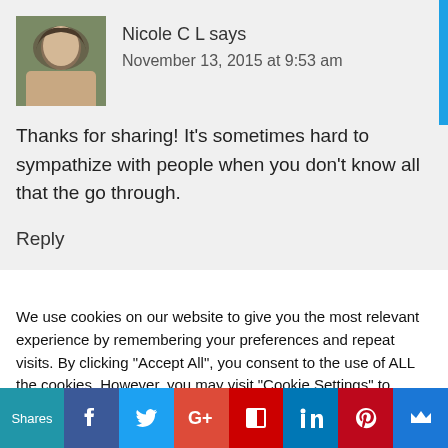Nicole C L says
November 13, 2015 at 9:53 am
Thanks for sharing! It's sometimes hard to sympathize with people when you don't know all that the go through.
Reply
We use cookies on our website to give you the most relevant experience by remembering your preferences and repeat visits. By clicking "Accept All", you consent to the use of ALL the cookies. However, you may visit "Cookie Settings" to provide a controlled consent.
Shares